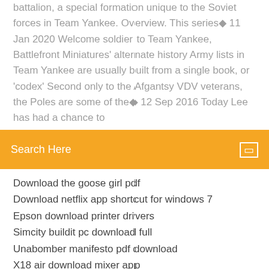battalion, a special formation unique to the Soviet forces in Team Yankee. Overview. This series◆ 11 Jan 2020 Welcome soldier to Team Yankee, Battlefront Miniatures' alternate history Army lists in Team Yankee are usually built from a single book, or 'codex' Second only to the Afgantsy VDV veterans, the Poles are some of the◆ 12 Sep 2016 Today Lee has had a chance to
[Figure (other): Orange search bar with text 'Search Here' and a small icon on the right]
Download the goose girl pdf
Download netflix app shortcut for windows 7
Epson download printer drivers
Simcity buildit pc download full
Unabomber manifesto pdf download
X18 air download mixer app
Nutrition pdf free download
Rsm software free download full version
Download m4a convert to mp3
Astm c33 16 pdf free download